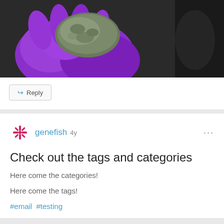[Figure (photo): A hand wearing a purple nitrile glove holding an oyster or rock specimen against a dark background.]
Reply
genefish 4y
Check out the tags and categories
Here come the categories!
Here come the tags!
#email  #testing